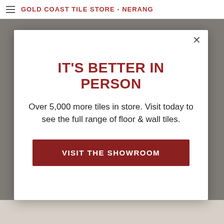GOLD COAST TILE STORE - NERANG
IT'S BETTER IN PERSON
Over 5,000 more tiles in store. Visit today to see the full range of floor & wall tiles.
VISIT THE SHOWROOM